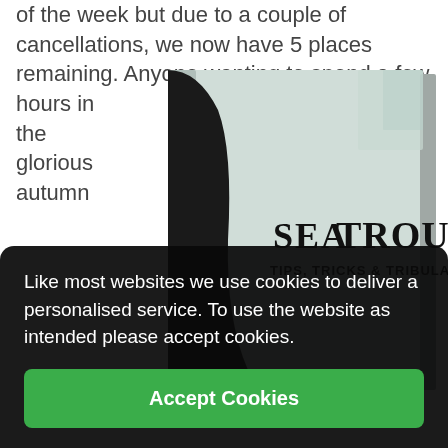of the week but due to a couple of cancellations, we now have 5 places remaining. Anyone wanting to spend a few hours in the glorious autumn
[Figure (photo): Book cover of 'Sea Trout Tips, Tricks & Tribulations' — a hardcover book with a black and white silhouette design]
Like most websites we use cookies to deliver a personalised service. To use the website as intended please accept cookies.
Accept Cookies